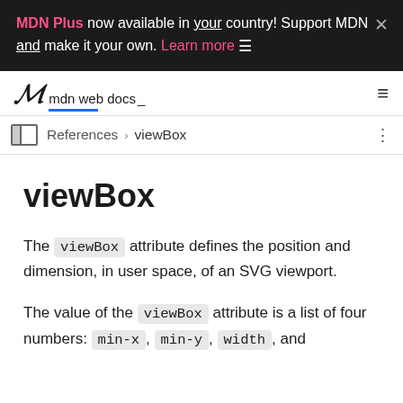MDN Plus now available in your country! Support MDN and make it your own. Learn more ☰ ×
mdn web docs
References › viewBox
viewBox
The viewBox attribute defines the position and dimension, in user space, of an SVG viewport.
The value of the viewBox attribute is a list of four numbers: min-x, min-y, width, and